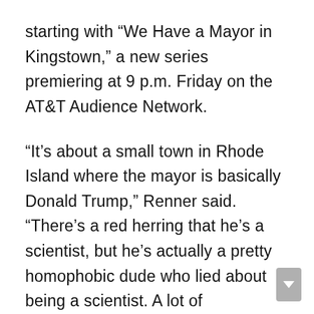starting with “We Have a Mayor in Kingstown,” a new series premiering at 9 p.m. Friday on the AT&T Audience Network.
“It’s about a small town in Rhode Island where the mayor is basically Donald Trump,” Renner said. “There’s a red herring that he’s a scientist, but he’s actually a pretty homophobic dude who lied about being a scientist. A lot of homophobia, a lot of racism, and other crazy things. But he’s running for president — on a platform of not caring about women, not caring about gay people, not caring about immigrants. It’s that